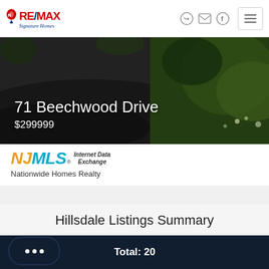RE/MAX Signature Homes
71 Beechwood Drive
$299999
[Figure (photo): Outdoor/nature photo showing green grass and ground, used as property listing banner image]
NJMLS. Internet Data Exchange
Nationwide Homes Realty
Hillsdale Listings Summary
Total: 20